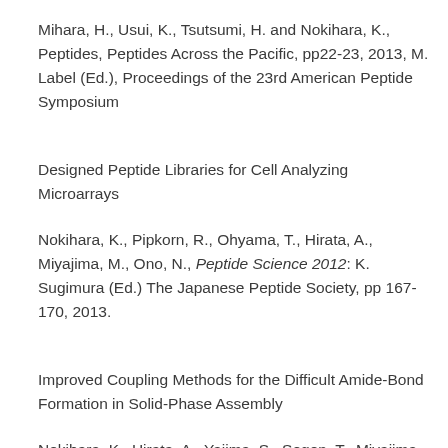Mihara, H., Usui, K., Tsutsumi, H. and Nokihara, K., Peptides, Peptides Across the Pacific, pp22-23, 2013, M. Label (Ed.), Proceedings of the 23rd American Peptide Symposium
Designed Peptide Libraries for Cell Analyzing Microarrays
Nokihara, K., Pipkorn, R., Ohyama, T., Hirata, A., Miyajima, M., Ono, N., Peptide Science 2012: K. Sugimura (Ed.) The Japanese Peptide Society, pp 167-170, 2013.
Improved Coupling Methods for the Difficult Amide-Bond Formation in Solid-Phase Assembly
Nokihara, K., Hirata, A., Yajima, S., Sogon, T., Miyajima,